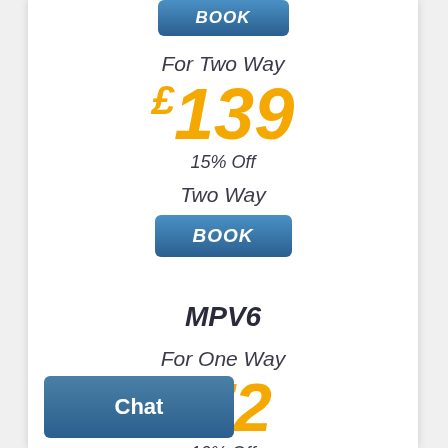[Figure (other): BOOK button (blue, top, partially visible)]
For Two Way
£139
15% Off
Two Way
[Figure (other): BOOK button (blue)]
MPV6
For One Way
£72
10% Off
[Figure (other): Chat button (blue, bottom left)]